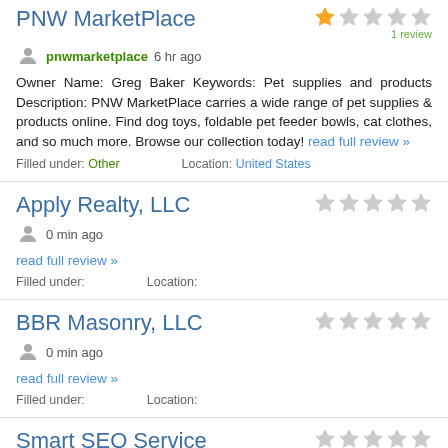PNW MarketPlace
pnwmarketplace 6 hr ago
Owner Name: Greg Baker Keywords: Pet supplies and products Description: PNW MarketPlace carries a wide range of pet supplies & products online. Find dog toys, foldable pet feeder bowls, cat clothes, and so much more. Browse our collection today! read full review »
Filled under: Other    Location: United States
Apply Realty, LLC
0 min ago
read full review »
Filled under:    Location:
BBR Masonry, LLC
0 min ago
read full review »
Filled under:    Location:
Smart SEO Service